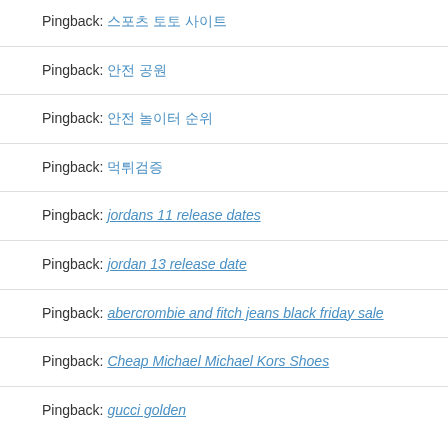Pingback: 스포츠 토토 사이트
Pingback: 안전 공원
Pingback: 안전 놀이터 순위
Pingback: 먹튀검증
Pingback: jordans 11 release dates
Pingback: jordan 13 release date
Pingback: abercrombie and fitch jeans black friday sale
Pingback: Cheap Michael Michael Kors Shoes
Pingback: gucci golden